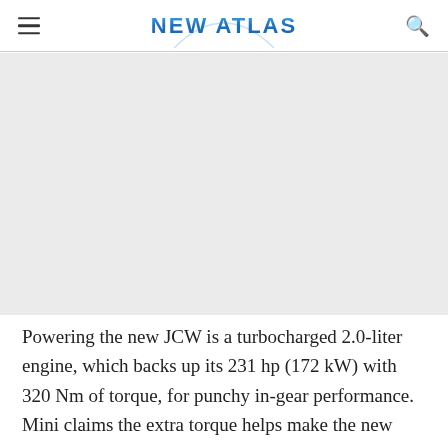NEW ATLAS
[Figure (photo): Large image placeholder area showing a vehicle or automotive subject, appears white/blank in this crop]
Powering the new JCW is a turbocharged 2.0-liter engine, which backs up its 231 hp (172 kW) with 320 Nm of torque, for punchy in-gear performance. Mini claims the extra torque helps make the new engine